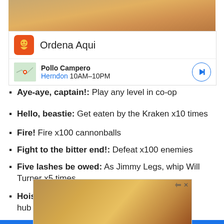[Figure (photo): Partial photo of fried chicken food at top of page (advertisement image)]
[Figure (infographic): Advertisement banner for Pollo Campero with orange logo 'Ordena Aqui' and map row showing Herndon 10AM-10PM]
Aye-aye, captain!: Play any level in co-op
Hello, beastie: Get eaten by the Kraken x10 times
Fire! Fire x100 cannonballs
Fight to the bitter end!: Defeat x100 enemies
Five lashes be owed: As Jimmy Legs, whip Will Turner x5 times
Hoist the colours!: Sail 100% minikits in the hub
[Figure (photo): Advertisement photo of fried chicken with bread rolls at bottom of page]